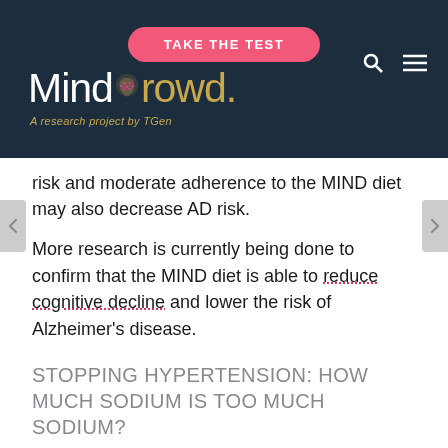TAKE THE TEST | MindCrowd. A research project by TGen
risk and moderate adherence to the MIND diet may also decrease AD risk.
More research is currently being done to confirm that the MIND diet is able to reduce cognitive decline and lower the risk of Alzheimer's disease.
STOPPING HYPERTENSION: HOW MUCH SODIUM IS TOO MUCH SODIUM?
High blood pressure is a risk factor for Alzheimer's and other dementias.